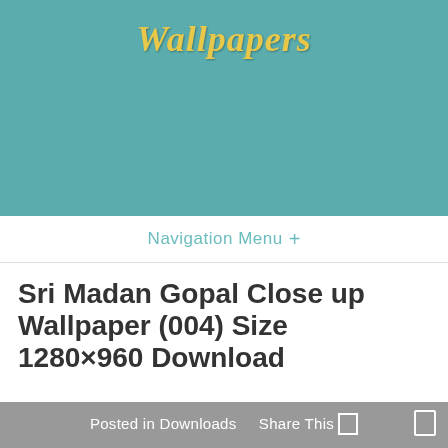[Figure (screenshot): Website header with teal/turquoise background and decorative script title 'Wallpapers']
Navigation Menu +
Sri Madan Gopal Close up Wallpaper (004) Size 1280×960 Download
Posted in Downloads  Share This